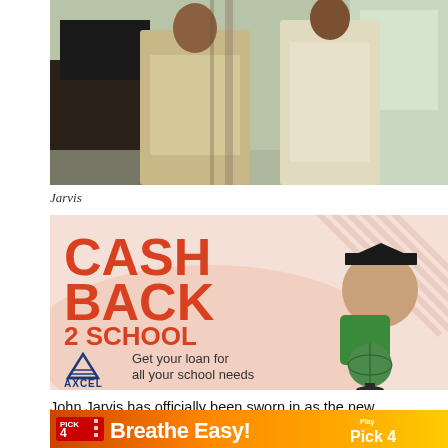[Figure (photo): Two people standing indoors, one in a beige suit, in what appears to be an official ceremony setting]
Jarvis
[Figure (other): Advertisement for Axcel Finance Cash Back 2 School promotion - Get your loan for all your school needs, featuring a child in graduation cap holding a globe]
John Jarvis has officially been sworn in as the new Chairman of the Antigua and Barbuda Electoral Commission.
[Figure (other): Advertisement banner for Pick 4 lottery - Breathe Easy! Play Pick 4]